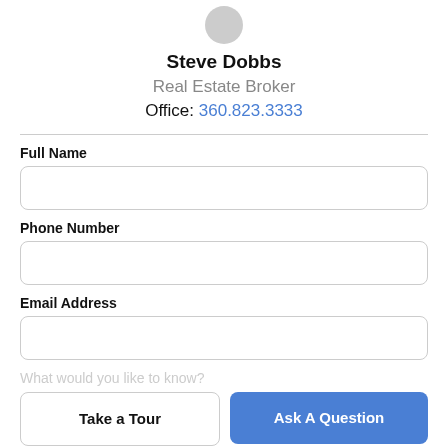[Figure (photo): Circular profile photo of Steve Dobbs]
Steve Dobbs
Real Estate Broker
Office: 360.823.3333
Full Name
Phone Number
Email Address
What would you like to know?
Take a Tour
Ask A Question